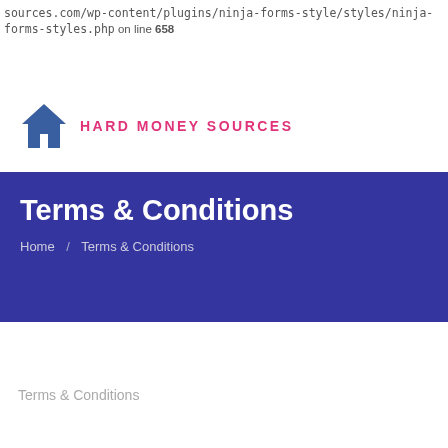sources.com/wp-content/plugins/ninja-forms-style/styles/ninja-forms-styles.php on line 658
[Figure (logo): Hard Money Sources logo: blue house icon and pink text reading HARD MONEY SOURCES]
Terms & Conditions
Home / Terms & Conditions
Terms & Conditions